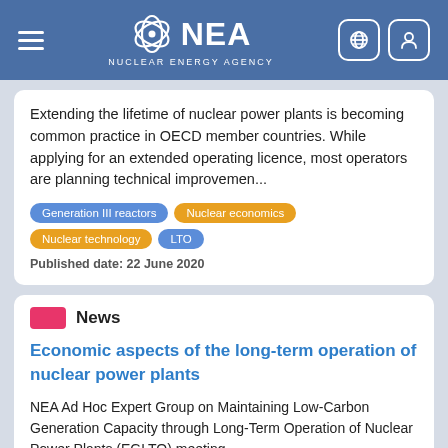[Figure (logo): NEA Nuclear Energy Agency website header with hamburger menu, NEA logo, globe icon and user icon on blue background]
Extending the lifetime of nuclear power plants is becoming common practice in OECD member countries. While applying for an extended operating licence, most operators are planning technical improvemen...
Generation III reactors | Nuclear economics | Nuclear technology | LTO
Published date: 22 June 2020
News
Economic aspects of the long-term operation of nuclear power plants
NEA Ad Hoc Expert Group on Maintaining Low-Carbon Generation Capacity through Long-Term Operation of Nuclear Power Plants (EGLTO) meeting,